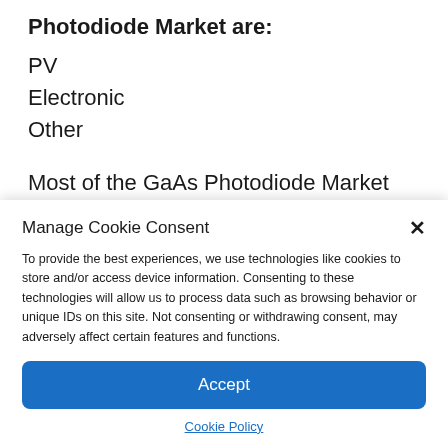Photodiode Market are:
PV
Electronic
Other
Most of the GaAs Photodiode Market data is presented in the form of graphical
Manage Cookie Consent
To provide the best experiences, we use technologies like cookies to store and/or access device information. Consenting to these technologies will allow us to process data such as browsing behavior or unique IDs on this site. Not consenting or withdrawing consent, may adversely affect certain features and functions.
Accept
Cookie Policy